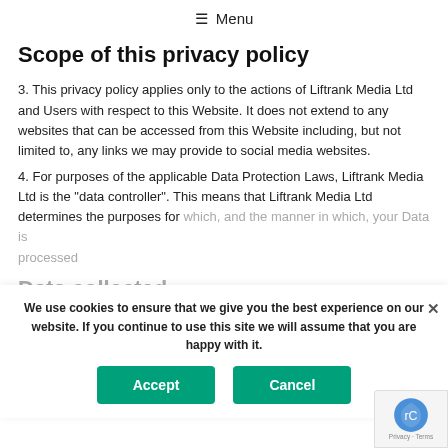≡ Menu
Scope of this privacy policy
3. This privacy policy applies only to the actions of Liftrank Media Ltd and Users with respect to this Website. It does not extend to any websites that can be accessed from this Website including, but not limited to, any links we may provide to social media websites.
4. For purposes of the applicable Data Protection Laws, Liftrank Media Ltd is the "data controller". This means that Liftrank Media Ltd determines the purposes for which, and the manner in which, your Data is processed
Data collected
We use cookies to ensure that we give you the best experience on our website. If you continue to use this site we will assume that you are happy with it.
Accept
Cancel